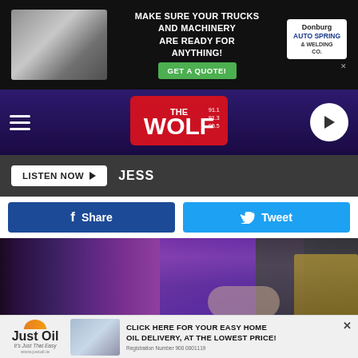[Figure (screenshot): Top advertisement banner: black background with text 'MAKE SURE YOUR TRUCKS AND MACHINERY ARE READY FOR ANYTHING!' with a green GET A QUOTE button and Donburg Auto Spring & Welding Co. logo]
[Figure (screenshot): The Wolf radio station navigation bar with purple background, hamburger menu, The Wolf 91.1 91.3 95.5 logo, and play button]
[Figure (screenshot): Listen Now button bar with dark background showing LISTEN NOW arrow button and JESS text]
[Figure (screenshot): Social sharing buttons: blue Facebook Share button and light blue Twitter Tweet button]
[Figure (photo): Photo of two people at an event, one wearing purple/magenta outfit and one in dark grey suit, cropped to show torsos with hands]
Image 1 of 9
Daniels' hits included "The Devil Went Down to Georgia,"
[Figure (screenshot): Bottom advertisement: Just Oil logo with orange arc, worker photo, text 'CLICK HERE FOR YOUR EASY HOME OIL DELIVERY, AT THE LOWEST PRICE!']